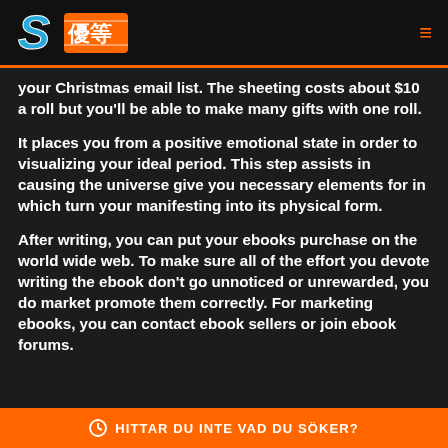S優等 [logo] | hamburger menu
your Christmas email list. The sheeting costs about $10 a roll but you'll be able to make many gifts with one roll.
It places you from a positive emotional state in order to visualizing your ideal period. This step assists in causing the universe give you necessary elements for in which turn your manifesting into its physical form.
After writing, you can put your ebooks purchase on the world wide web. To make sure all of the effort you devote writing the ebook don't go unnoticed or unrewarded, you do market promote them correctly. For marketing ebooks, you can contact ebook sellers or join ebook forums.
⊙ HITTAR DU INTE VAD DU SÖKER?